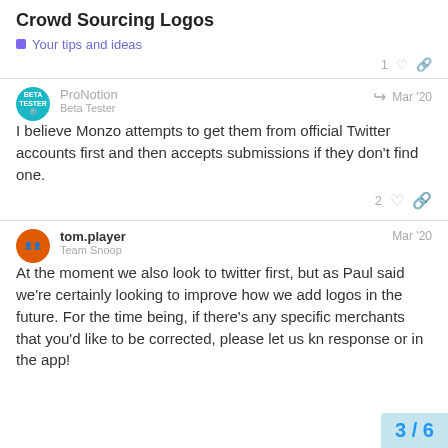Crowd Sourcing Logos
Your tips and ideas
ProNotion
Beta Tester
Mar '20
I believe Monzo attempts to get them from official Twitter accounts first and then accepts submissions if they don't find one.
tom.player
Team Snoop
Mar '20
At the moment we also look to twitter first, but as Paul said we're certainly looking to improve how we add logos in the future. For the time being, if there's any specific merchants that you'd like to be corrected, please let us kn response or in the app!